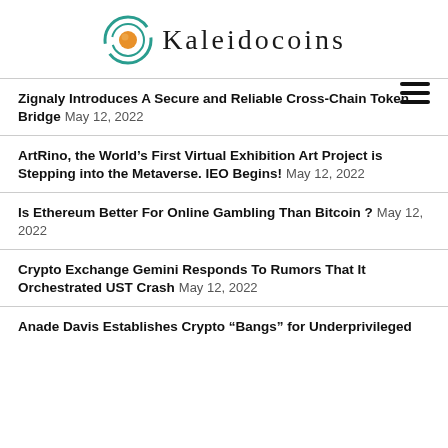[Figure (logo): Kaleidocoins logo with circular orange and teal icon and the text 'Kaleidocoins' in serif lettering with wide letter-spacing]
Zignaly Introduces A Secure and Reliable Cross-Chain Token Bridge May 12, 2022
ArtRino, the World’s First Virtual Exhibition Art Project is Stepping into the Metaverse. IEO Begins! May 12, 2022
Is Ethereum Better For Online Gambling Than Bitcoin ? May 12, 2022
Crypto Exchange Gemini Responds To Rumors That It Orchestrated UST Crash May 12, 2022
Anade Davis Establishes Crypto “Bangs” for Underprivileged